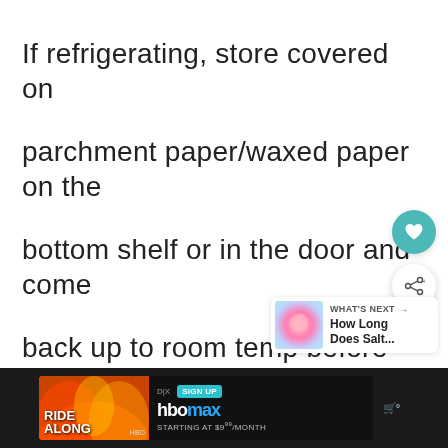If refrigerating, store covered on parchment paper/waxed paper on the bottom shelf or in the door and come back up to room temp before op
[Figure (screenshot): UI overlay with heart/save button (teal circle), share button (white circle), and 'WHAT'S NEXT' card showing 'How Long Does Salt...' with thumbnail]
[Figure (screenshot): Footer advertisement bar showing 'RIDE ALONG' movie with HBO Max 'SIGN UP STARTING AT $9/MONTH' advertisement on dark background]